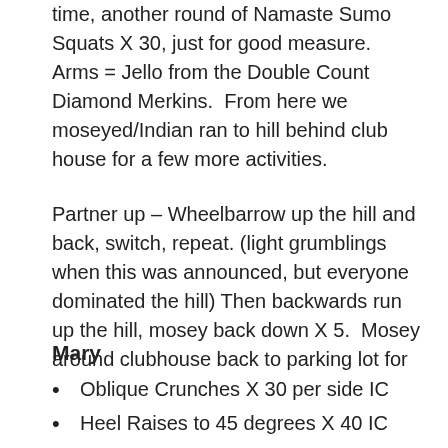time, another round of Namaste Sumo Squats X 30, just for good measure.  Arms = Jello from the Double Count Diamond Merkins.  From here we moseyed/Indian ran to hill behind club house for a few more activities.
Partner up – Wheelbarrow up the hill and back, switch, repeat. (light grumblings when this was announced, but everyone dominated the hill) Then backwards run up the hill, mosey back down X 5.  Mosey around clubhouse back to parking lot for
Mary
Oblique Crunches X 30 per side IC
Heel Raises to 45 degrees X 40 IC
American Hammers X 20 IC
5 Burpees OYO